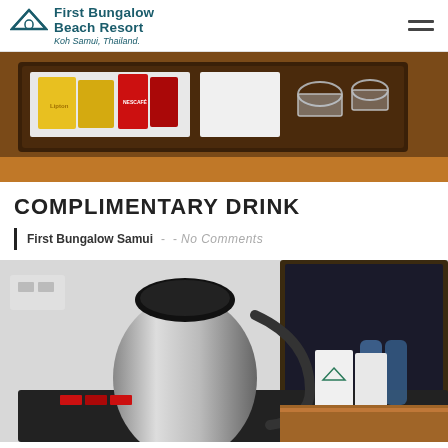First Bungalow Beach Resort – Koh Samui, Thailand
[Figure (photo): Close-up photo of a wooden tray with tea bags (Lipton), coffee sachets (Nescafe), creamer packets, and glass cups arranged on a hotel room table.]
COMPLIMENTARY DRINK
First Bungalow Samui - - No Comments
[Figure (photo): Photo of a stainless steel electric kettle on a black tray with water bottles, branded paper bags with First Bungalow Resort logo, and glass teacups in a hotel room setting.]